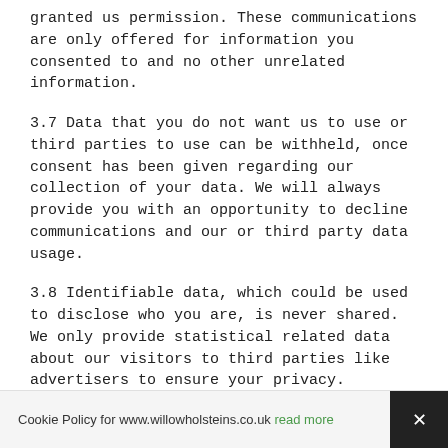granted us permission. These communications are only offered for information you consented to and no other unrelated information.
3.7 Data that you do not want us to use or third parties to use can be withheld, once consent has been given regarding our collection of your data. We will always provide you with an opportunity to decline communications and our or third party data usage.
3.8 Identifiable data, which could be used to disclose who you are, is never shared. We only provide statistical related data about our visitors to third parties like advertisers to ensure your privacy.
4. Storing Your Personal Data
4.1 Outside of the European Economic Area are places for storing and processing data we collect from you. We may take advantage of these outside areas, allowing a staff to
Cookie Policy for www.willowholsteins.co.uk read more